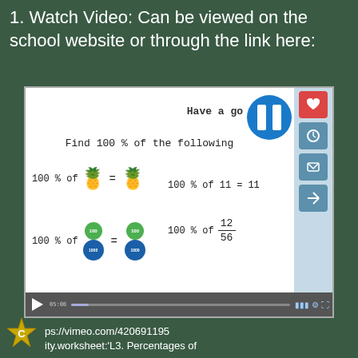1. Watch Video: Can be viewed on the school website or through the link here:
[Figure (screenshot): Screenshot of a video player showing an educational math lesson about finding 100% of various quantities. The video shows pineapple emojis, coin icons, and fractions illustrating the concept. A blue pause button and 'Have a go' text are visible. A video control bar is at the bottom.]
https://vimeo.com/420691195
ity.worksheet:'L3. Percentages of